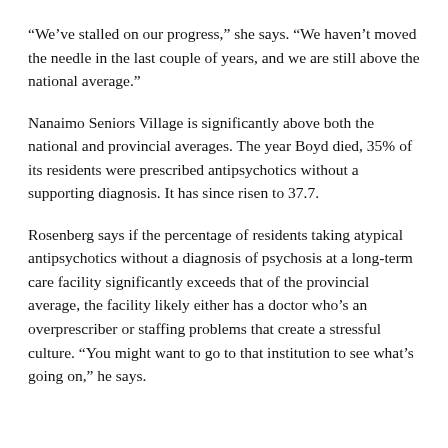“We’ve stalled on our progress,” she says. “We haven’t moved the needle in the last couple of years, and we are still above the national average.”
Nanaimo Seniors Village is significantly above both the national and provincial averages. The year Boyd died, 35% of its residents were prescribed antipsychotics without a supporting diagnosis. It has since risen to 37.7.
Rosenberg says if the percentage of residents taking atypical antipsychotics without a diagnosis of psychosis at a long-term care facility significantly exceeds that of the provincial average, the facility likely either has a doctor who’s an overprescriber or staffing problems that create a stressful culture. “You might want to go to that institution to see what’s going on,” he says.